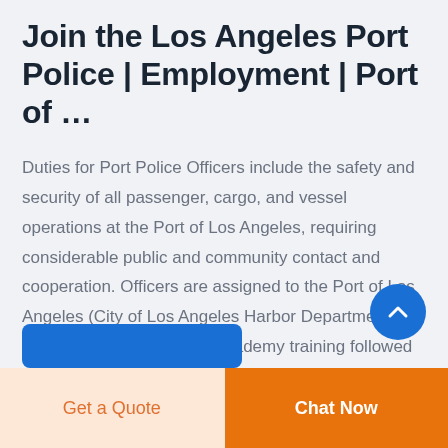Join the Los Angeles Port Police | Employment | Port of …
Duties for Port Police Officers include the safety and security of all passenger, cargo, and vessel operations at the Port of Los Angeles, requiring considerable public and community contact and cooperation. Officers are assigned to the Port of Los Angeles (City of Los Angeles Harbor Department) and undergo basic police academy training followed by field training with a field…